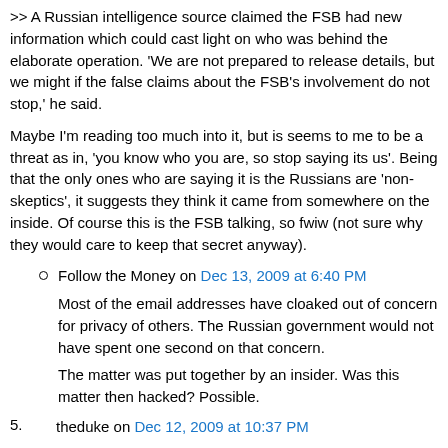>> A Russian intelligence source claimed the FSB had new information which could cast light on who was behind the elaborate operation. 'We are not prepared to release details, but we might if the false claims about the FSB's involvement do not stop,' he said.
Maybe I'm reading too much into it, but is seems to me to be a threat as in, 'you know who you are, so stop saying its us'. Being that the only ones who are saying it is the Russians are 'non-skeptics', it suggests they think it came from somewhere on the inside. Of course this is the FSB talking, so fwiw (not sure why they would care to keep that secret anyway).
Follow the Money on Dec 13, 2009 at 6:40 PM
Most of the email addresses have cloaked out of concern for privacy of others. The Russian government would not have spent one second on that concern.
The matter was put together by an insider. Was this matter then hacked? Possible.
5. theduke on Dec 12, 2009 at 10:37 PM
Jeff Alberts: I think they got it right. They are not saying the "decline" was a decline in temperatures. It's clear they are talking about the tree ring proxies since 1960..
For a tabloid, this is a very good exposition of what is going on.